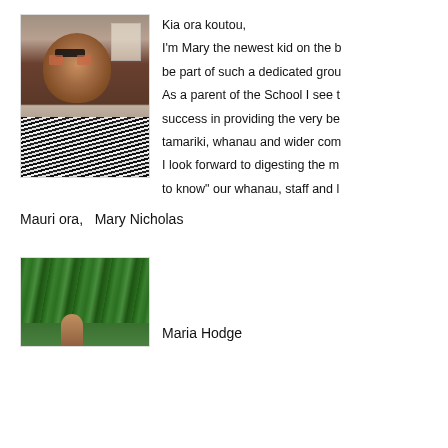[Figure (photo): Portrait photo of Mary Nicholas, a woman with short dark hair and glasses, wearing a patterned black and white shirt, sitting in front of a bulletin board]
Kia ora koutou,

I'm Mary the newest kid on the b[lock ... ] be part of such a dedicated grou[p ...]

As a parent of the School I see [the school's] success in providing the very be[st for our] tamariki, whanau and wider com[munity.]

I look forward to digesting the m[aterial and getting] to know" our whanau, staff and [community.]
Mauri ora,   Mary Nicholas
[Figure (photo): Outdoor photo showing a person among green trees/bush]
Maria Hodge